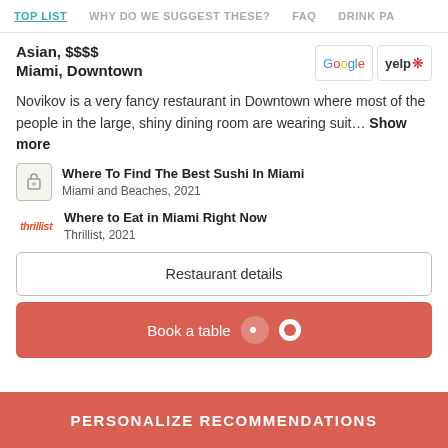TOP LIST  WHY DO WE SUGGEST THESE?  FAQ  DRINK PA
Asian, $$$$
Miami, Downtown
Novikov is a very fancy restaurant in Downtown where most of the people in the large, shiny dining room are wearing suit... Show more
Where To Find The Best Sushi In Miami
Miami and Beaches, 2021
Where to Eat in Miami Right Now
Thrillist, 2021
Restaurant details
Book a table
PERSONALIZE RECOMMENDATIONS